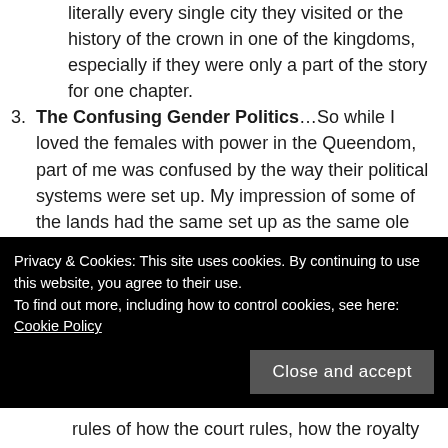literally every single city they visited or the history of the crown in one of the kingdoms, especially if they were only a part of the story for one chapter.
The Confusing Gender Politics...So while I loved the females with power in the Queendom, part of me was confused by the way their political systems were set up. My impression of some of the lands had the same set up as the same ole way as traditional male-dominated courts we feel familiar with in a plethora of other fantasy. It felt like it was supposed to be a
Privacy & Cookies: This site uses cookies. By continuing to use this website, you agree to their use. To find out more, including how to control cookies, see here: Cookie Policy
rules of how the court rules, how the royalty